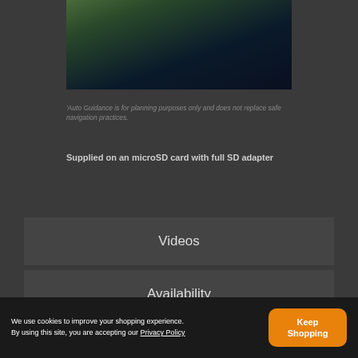[Figure (photo): Aerial photograph of a coastline with dark water and green vegetation, viewed from above]
'Auto Guidance is for planning purposes only and does not replace safe navigation practices.
Supplied on an microSD card with full SD adapter
Videos
Availability
We use cookies to improve your shopping experience. By using this site, you are accepting our Privacy Policy